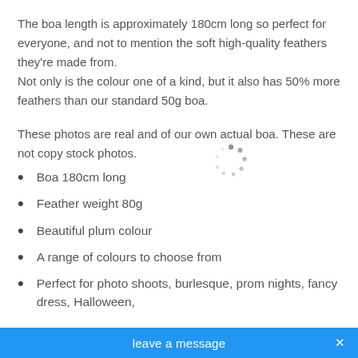The boa length is approximately 180cm long so perfect for everyone, and not to mention the soft high-quality feathers they're made from.
Not only is the colour one of a kind, but it also has 50% more feathers than our standard 50g boa.
These photos are real and of our own actual boa. These are not copy stock photos.
[Figure (other): Loading spinner / animated dots indicator]
Boa 180cm long
Feather weight 80g
Beautiful plum colour
A range of colours to choose from
Perfect for photo shoots, burlesque, prom nights, fancy dress, Halloween,
leave a message  ×